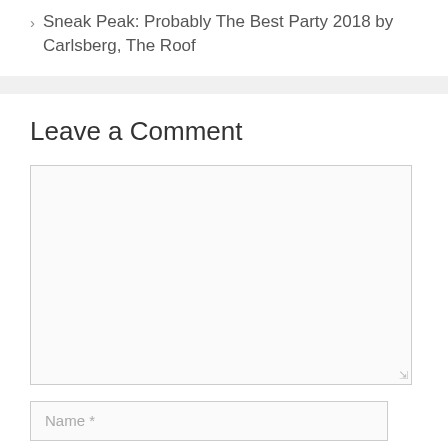Sneak Peak: Probably The Best Party 2018 by Carlsberg, The Roof
Leave a Comment
[Figure (other): Comment text area input box (empty)]
[Figure (other): Name input field with placeholder 'Name *']